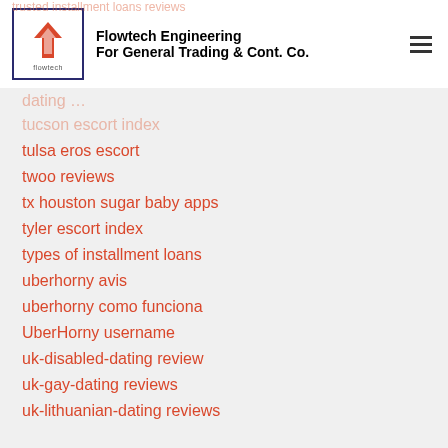Flowtech Engineering For General Trading & Cont. Co.
trusted installment loans reviews
tucson escort index
tulsa eros escort
twoo reviews
tx houston sugar baby apps
tyler escort index
types of installment loans
uberhorny avis
uberhorny como funciona
UberHorny username
uk-disabled-dating review
uk-gay-dating reviews
uk-lithuanian-dating reviews